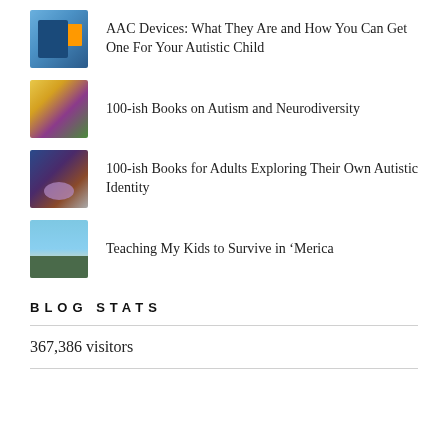AAC Devices: What They Are and How You Can Get One For Your Autistic Child
100-ish Books on Autism and Neurodiversity
100-ish Books for Adults Exploring Their Own Autistic Identity
Teaching My Kids to Survive in ‘Merica
BLOG STATS
367,386 visitors